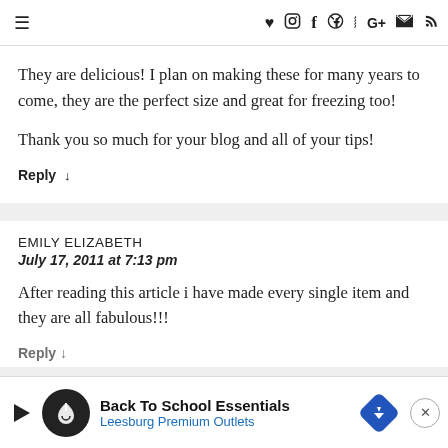≡  ♥  instagram  f  pinterest  twitter  G+  mail  rss
They are delicious! I plan on making these for many years to come, they are the perfect size and great for freezing too!

Thank you so much for your blog and all of your tips!
Reply ↓
EMILY ELIZABETH
July 17, 2011 at 7:13 pm
After reading this article i have made every single item and they are all fabulous!!!
Reply ↓
[Figure (infographic): Advertisement banner: Back To School Essentials, Leesburg Premium Outlets, with logo circle, play button, blue diamond arrow icon, and close X button]